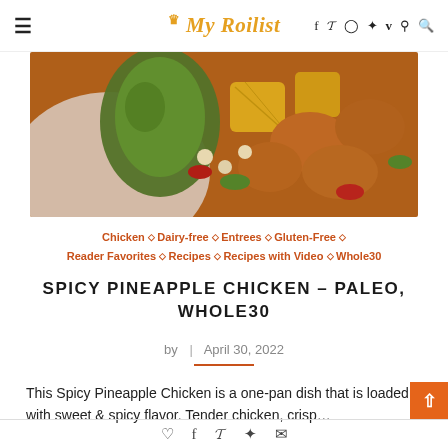My Roilist — navigation bar with hamburger menu and social icons (f, Twitter, Instagram, Pinterest, Vimeo, Reddit, Search)
[Figure (photo): Close-up photo of Spicy Pineapple Chicken dish in a white bowl with green bell peppers, pineapple chunks, and glazed chicken pieces]
Chicken ◇ Dairy-free ◇ Entrees ◇ Gluten-Free ◇ Reader Favorites ◇ Recipes ◇ Recipes with Video ◇ Whole30
SPICY PINEAPPLE CHICKEN – PALEO, WHOLE30
by | April 30, 2022
This Spicy Pineapple Chicken is a one-pan dish that is loaded with sweet & spicy flavor. Tender chicken, crisp...